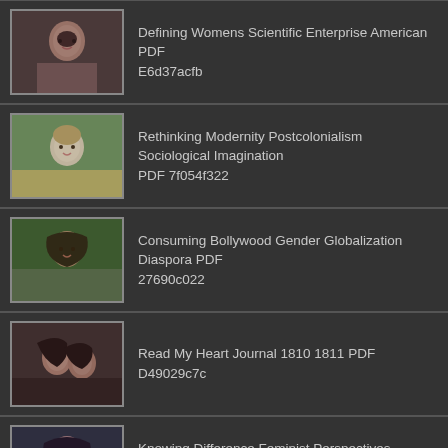Defining Womens Scientific Enterprise American PDF E6d37acfb
Rethinking Modernity Postcolonialism Sociological Imagination PDF 7f054f322
Consuming Bollywood Gender Globalization Diaspora PDF 27690c022
Read My Heart Journal 1810 1811 PDF D49029c7c
Knowing Difference Feminist Perspectives Epistemology PDF 659b50279